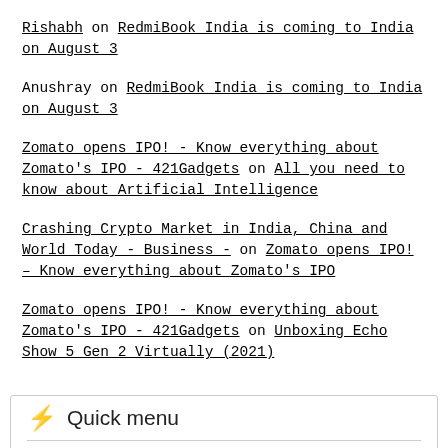Rishabh on RedmiBook India is coming to India on August 3
Anushray on RedmiBook India is coming to India on August 3
Zomato opens IPO! - Know everything about Zomato's IPO - 421Gadgets on All you need to know about Artificial Intelligence
Crashing Crypto Market in India, China and World Today - Business - on Zomato opens IPO! – Know everything about Zomato's IPO
Zomato opens IPO! - Know everything about Zomato's IPO - 421Gadgets on Unboxing Echo Show 5 Gen 2 Virtually (2021)
Quick menu
Top page with review list
Top offers from posts